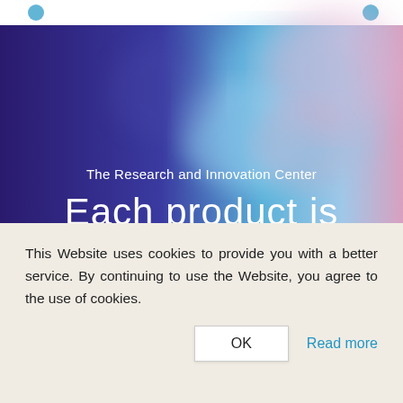[Figure (photo): Hero background image showing a blurred abstract face/figure with blue and purple tones, with dark navy/purple on the left and softer blue-pink hues on the right. A white navigation bar with logo icons appears at the very top.]
The Research and Innovation Center
Each product is
This Website uses cookies to provide you with a better service. By continuing to use the Website, you agree to the use of cookies.
OK
Read more